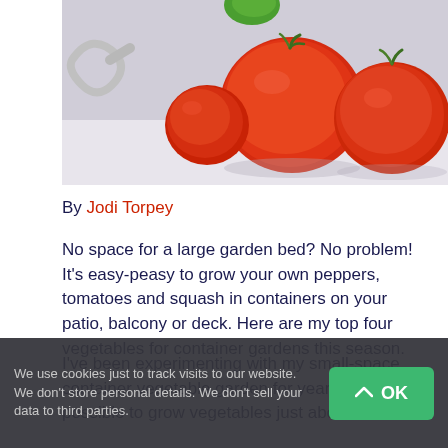[Figure (photo): Photo of red tomatoes and vegetables in a colander/strainer on a light surface]
By Jodi Torpey
No space for a large garden bed? No problem! It's easy-peasy to grow your own peppers, tomatoes and squash in containers on your patio, balcony or deck. Here are my top four vegetables for container gardens this season.
I've been experimenting with my small-space container vegetable garden for years, proving it's possible to grow vegetables just about
We use cookies just to track visits to our website. We don't store personal details. We don't sell your data to third parties.